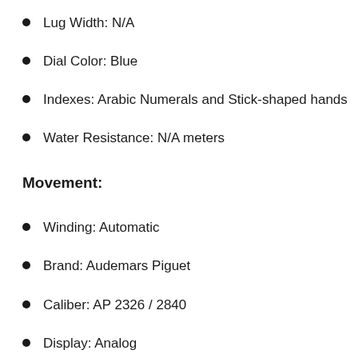Lug Width: N/A
Dial Color: Blue
Indexes: Arabic Numerals and Stick-shaped hands
Water Resistance: N/A meters
Movement:
Winding: Automatic
Brand: Audemars Piguet
Caliber: AP 2326 / 2840
Display: Analog
Diameter: 29.3mm